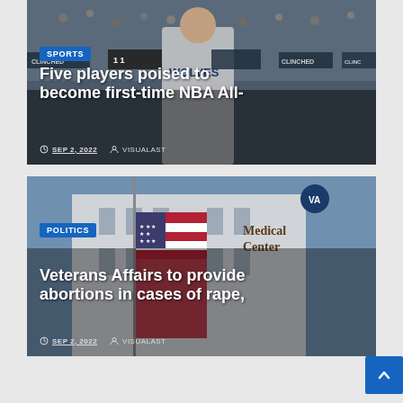[Figure (photo): Sports photo of basketball player wearing Minnesota Timberwolves jersey in a crowded arena with 'CLINCHED' banners visible]
SPORTS
Five players poised to become first-time NBA All-
SEP 2, 2022   VISUALAST
[Figure (photo): Photo of American flag in front of a VA Medical Center building with blue sky in background]
POLITICS
Veterans Affairs to provide abortions in cases of rape,
SEP 2, 2022   VISUALAST